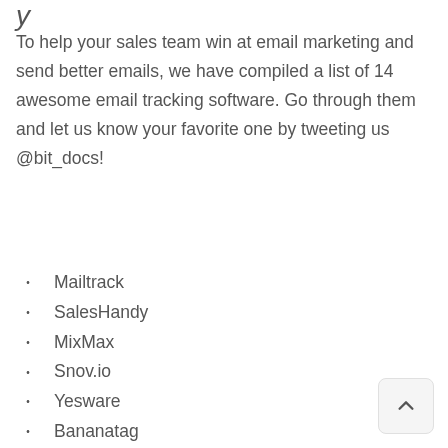y
To help your sales team win at email marketing and send better emails, we have compiled a list of 14 awesome email tracking software. Go through them and let us know your favorite one by tweeting us @bit_docs!
Mailtrack
SalesHandy
MixMax
Snov.io
Yesware
Bananatag